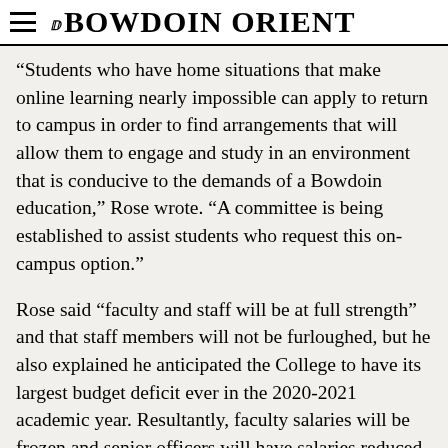THE BOWDOIN ORIENT
“Students who have home situations that make online learning nearly impossible can apply to return to campus in order to find arrangements that will allow them to engage and study in an environment that is conducive to the demands of a Bowdoin education,” Rose wrote. “A committee is being established to assist students who request this on-campus option.”
Rose said “faculty and staff will be at full strength” and that staff members will not be furloughed, but he also explained he anticipated the College to have its largest budget deficit ever in the 2020-2021 academic year. Resultantly, faculty salaries will be frozen and senior officers will have salaries reduced by 10 percent.